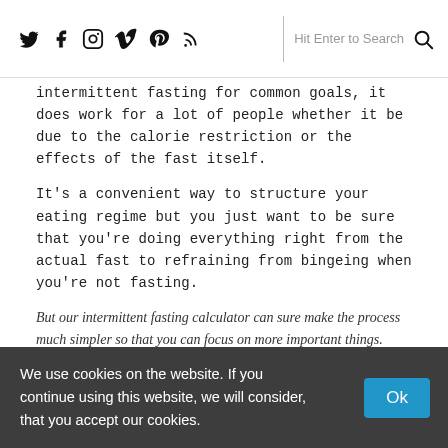Social icons: Twitter, Facebook, Instagram, Vimeo, Pinterest, RSS | Hit Enter to Search
intermittent fasting for common goals, it does work for a lot of people whether it be due to the calorie restriction or the effects of the fast itself.
It's a convenient way to structure your eating regime but you just want to be sure that you're doing everything right from the actual fast to refraining from bingeing when you're not fasting.
But our intermittent fasting calculator can sure make the process much simpler so that you can focus on more important things.
Frequently Asked Questions (FAQs)
We use cookies on the website. If you continue using this website, we will consider, that you accept our cookies.